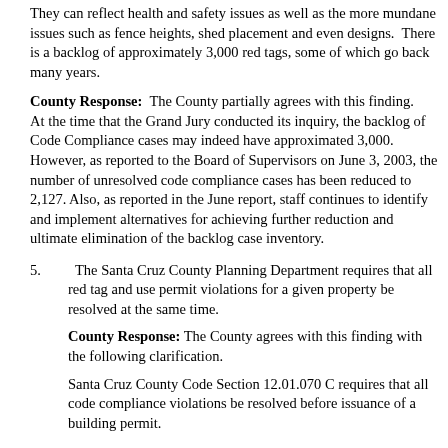They can reflect health and safety issues as well as the more mundane issues such as fence heights, shed placement and even designs.  There is a backlog of approximately 3,000 red tags, some of which go back many years.
County Response:  The County partially agrees with this finding.      At the time that the Grand Jury conducted its inquiry, the backlog of Code Compliance cases may indeed have approximated 3,000. However, as reported to the Board of Supervisors on June 3, 2003, the number of unresolved code compliance cases has been reduced to 2,127. Also, as reported in the June report, staff continues to identify and implement alternatives for achieving further reduction and ultimate elimination of the backlog case inventory.
5.   The Santa Cruz County Planning Department requires that all red tag and use permit violations for a given property be resolved at the same time.
County Response: The County agrees with this finding with the following clarification.
Santa Cruz County Code Section 12.01.070 C requires that all code compliance violations be resolved before issuance of a building permit.